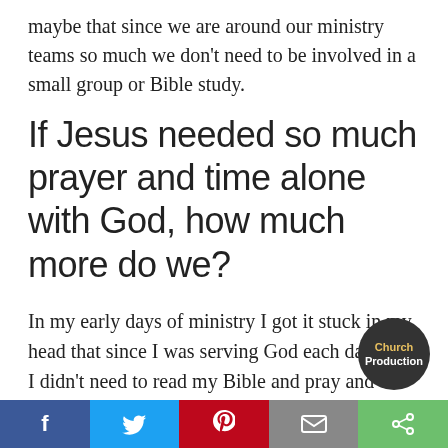maybe that since we are around our ministry teams so much we don't need to be involved in a small group or Bible study.
If Jesus needed so much prayer and time alone with God, how much more do we?
In my early days of ministry I got it stuck in my head that since I was serving God each day that I didn't need to read my Bible and pray and do these things like everyone else does. Besides we are saved by faith, right? The issue is not one of
[Figure (logo): Church Production circular logo badge in dark gray with gold/yellow text]
Facebook | Twitter | Pinterest | Email | Share